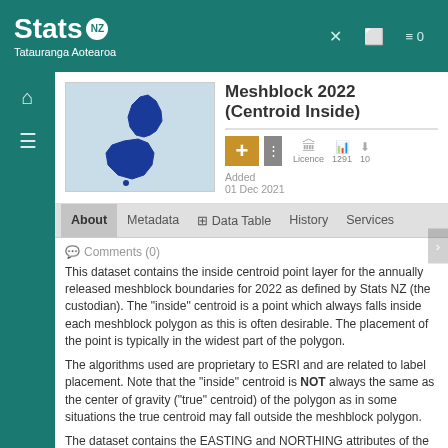Stats NZ — Tatauranga Aotearoa
Meshblock 2022 (Centroid Inside)
[Figure (map): Map of New Zealand showing blue landmass on light blue/grey background]
Added 01 Dec 2021
About | Metadata | Data Table | History | Services
Comments (0)
This dataset contains the inside centroid point layer for the annually released meshblock boundaries for 2022 as defined by Stats NZ (the custodian). The "inside" centroid is a point which always falls inside each meshblock polygon as this is often desirable. The placement of the point is typically in the widest part of the polygon.
The algorithms used are proprietary to ESRI and are related to label placement. Note that the "inside" centroid is NOT always the same as the center of gravity ("true" centroid) of the polygon as in some situations the true centroid may fall outside the meshblock polygon.
The dataset contains the EASTING and NORTHING attributes of the centroid point in NZGD2000 New Zealand Transverse Mercator (EPSG:2193) and LATITUDE and LONGITUDE of the centroid point in decimal degrees in WGS1984 (EPSG:4326) projection. New...